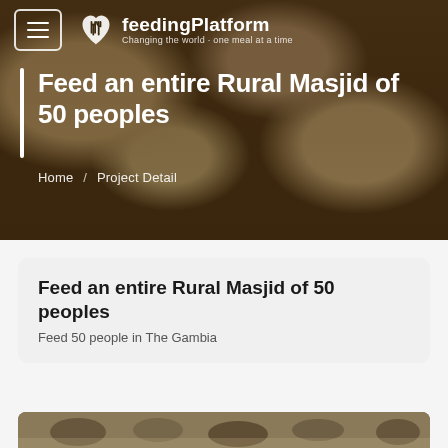feedingPlatform - Changing the world · one meal at a time
Feed an entire Rural Masjid of 50 peoples
Home / Project Detail
Feed an entire Rural Masjid of 50 peoples
Feed 50 people in The Gambia
[Figure (photo): People eating at a community meal in The Gambia, partial view at bottom of page]